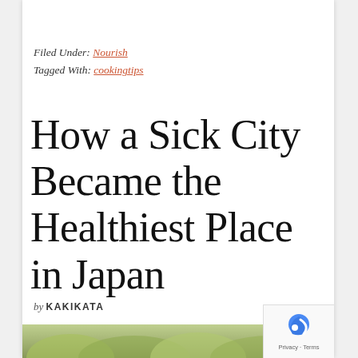Filed Under: Nourish
Tagged With: cookingtips
How a Sick City Became the Healthiest Place in Japan
by KAKIKATA
[Figure (photo): Partial view of vegetables or food at the bottom of the page]